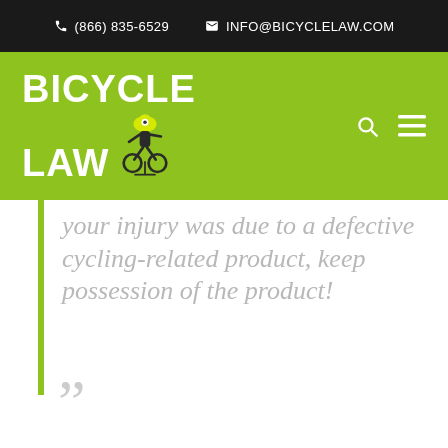(866) 835-6529  INFO@BICYCLELAW.COM
[Figure (logo): Bicycle Law logo with cyclist icon on green navigation bar]
your injury was due to a defective cycling-related product, keep possession of the product!
””
Seek prompt medical treatment for your injuries. This is one of the most